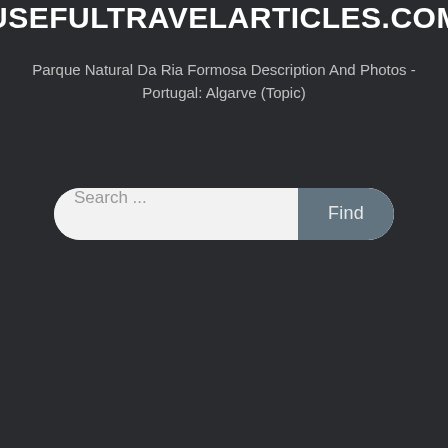USEFULTRAVELARTICLES.COM
Parque Natural Da Ria Formosa Description And Photos - Portugal: Algarve (Topic)
[Figure (screenshot): Search bar with placeholder text 'Search ...' and a 'Find' button on a dark background]